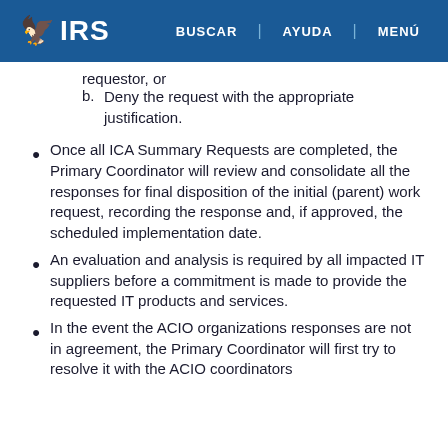IRS | BUSCAR | AYUDA | MENÚ
b. Deny the request with the appropriate justification.
Once all ICA Summary Requests are completed, the Primary Coordinator will review and consolidate all the responses for final disposition of the initial (parent) work request, recording the response and, if approved, the scheduled implementation date.
An evaluation and analysis is required by all impacted IT suppliers before a commitment is made to provide the requested IT products and services.
In the event the ACIO organizations responses are not in agreement, the Primary Coordinator will first try to resolve it with the ACIO coordinators